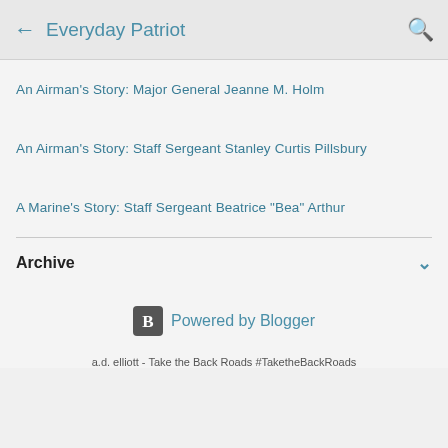Everyday Patriot
An Airman's Story: Major General Jeanne M. Holm
An Airman's Story: Staff Sergeant Stanley Curtis Pillsbury
A Marine's Story: Staff Sergeant Beatrice "Bea" Arthur
Archive
Powered by Blogger
a.d. elliott - Take the Back Roads #TaketheBackRoads